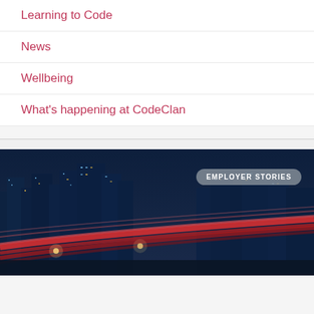Learning to Code
News
Wellbeing
What's happening at CodeClan
[Figure (photo): Night cityscape with light trails from traffic, tall buildings in background, with 'EMPLOYER STORIES' badge overlaid in top right]